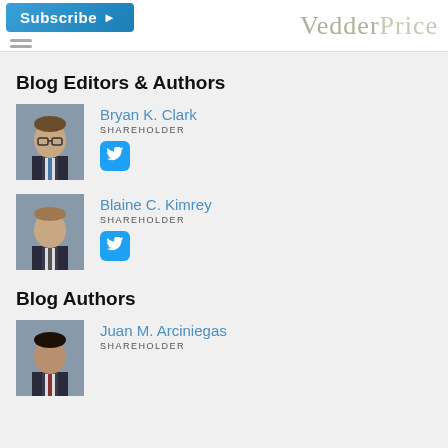Subscribe | VedderPrice
Blog Editors & Authors
[Figure (photo): Headshot of Bryan K. Clark]
Bryan K. Clark
SHAREHOLDER
[Figure (photo): Headshot of Blaine C. Kimrey]
Blaine C. Kimrey
SHAREHOLDER
Blog Authors
[Figure (photo): Headshot of Juan M. Arciniegas]
Juan M. Arciniegas
SHAREHOLDER